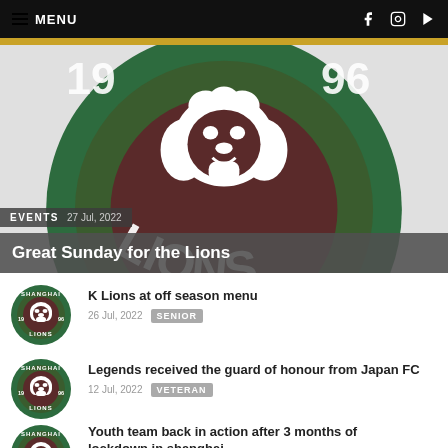≡ MENU
[Figure (logo): Shanghai Lions FC circular logo with lion head, years 1996, text LIONS on green and dark red background]
EVENTS  27 Jul, 2022
Great Sunday for the Lions
[Figure (logo): Shanghai Lions FC small circular logo]
K Lions at off season menu
26 Jul, 2022  SENIOR
[Figure (logo): Shanghai Lions FC small circular logo]
Legends received the guard of honour from Japan FC
12 Jul, 2022  VETERAN
[Figure (logo): Shanghai Lions FC small circular logo (partial)]
Youth team back in action after 3 months of lockdown in shanghai